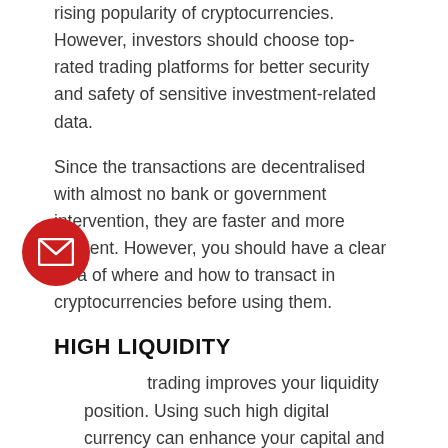rising popularity of cryptocurrencies. However, investors should choose top-rated trading platforms for better security and safety of sensitive investment-related data.
Since the transactions are decentralised with almost no bank or government intervention, they are faster and more efficient. However, you should have a clear idea of where and how to transact in cryptocurrencies before using them.
HIGH LIQUIDITY
trading improves your liquidity position. Using such high digital currency can enhance your capital and provide new liquidity tools.
Crypto exchanges have become an excellent platform for new capital additions with real-time and accurate revenue-sharing features bonded with transparency.
Bitcoins and altcoins were popular amongst consumers way before the corporate world started to like them. Several companies have identified that essential clients, including vendors, are interested in using bitcoins.